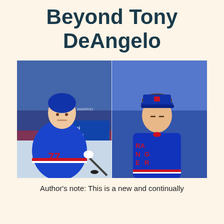Beyond Tony DeAngelo
[Figure (photo): Two side-by-side photos of Tony DeAngelo in New York Rangers uniform. Left photo shows him in action on ice wearing number 77, in blue Rangers jersey with red accents, holding a hockey stick. Right photo shows him standing in a blue Rangers jersey and blue Rangers cap, with 'RANGERS' visible on the jersey.]
Author's note: This is a new and continually